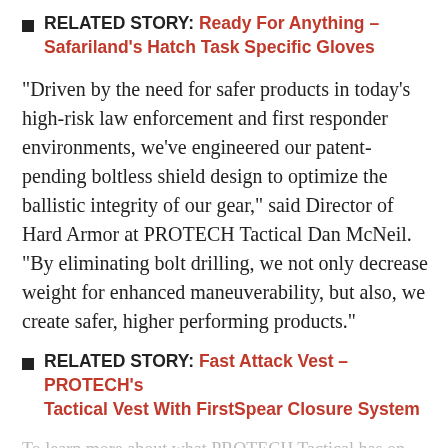RELATED STORY: Ready For Anything – Safariland's Hatch Task Specific Gloves
“Driven by the need for safer products in today’s high-risk law enforcement and first responder environments, we’ve engineered our patent-pending boltless shield design to optimize the ballistic integrity of our gear,” said Director of Hard Armor at PROTECH Tactical Dan McNeil. “By eliminating bolt drilling, we not only decrease weight for enhanced maneuverability, but also, we create safer, higher performing products.”
RELATED STORY: Fast Attack Vest – PROTECH’s Tactical Vest With FirstSpear Closure System
To learn more about what PROTECH Tactical has on
KEEP READING